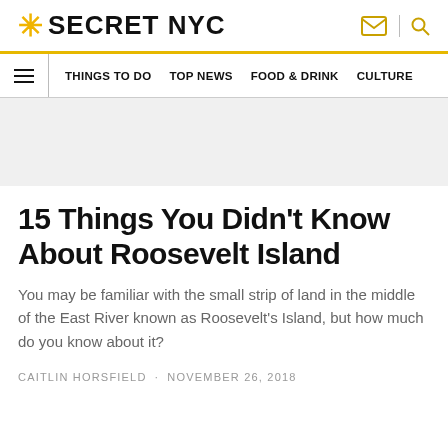SECRET NYC
THINGS TO DO  TOP NEWS  FOOD & DRINK  CULTURE
15 Things You Didn’t Know About Roosevelt Island
You may be familiar with the small strip of land in the middle of the East River known as Roosevelt's Island, but how much do you know about it?
CAITLIN HORSFIELD · NOVEMBER 26, 2018